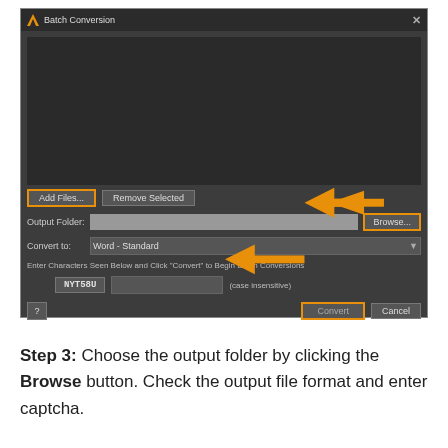[Figure (screenshot): Screenshot of Batch Conversion dialog with orange highlighted boxes around Add Files button, Browse button, and Convert button, plus orange arrows pointing to Browse button and captcha input field. Dialog shows file list area (dark), Output Folder field, Convert to dropdown (Word - Standard), captcha row with code NYT58U, and Cancel button.]
Step 3: Choose the output folder by clicking the Browse button. Check the output file format and enter captcha.